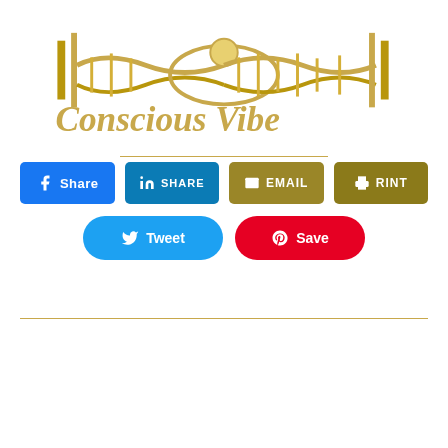[Figure (logo): Conscious Vibe logo with golden DNA double-helix / eye motif and italic gold script text 'Conscious Vibe']
[Figure (infographic): Social sharing buttons: Facebook Share (blue), LinkedIn SHARE (blue), EMAIL (gold), PRINT (gold), Tweet (blue pill), Save/Pinterest (red pill)]